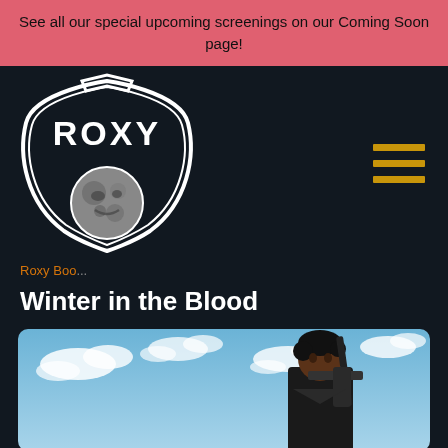See all our special upcoming screenings on our Coming Soon page!
[Figure (logo): Roxy Cinema logo — ornate badge shape with ROXY text and moon face illustration]
Roxy Boo...
Winter in the Blood
[Figure (photo): Young person with dark hair holding a rifle over shoulder against a blue cloudy sky background]
Bottom navigation bar with account, cart, location, and pen/feather icons